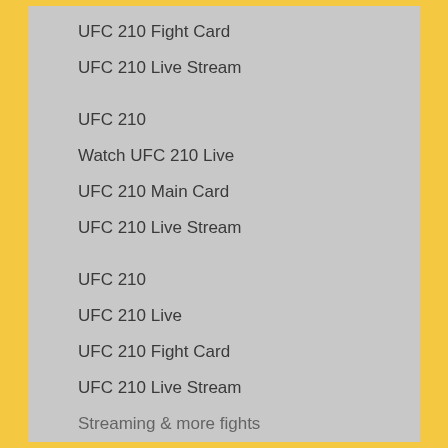UFC 210 Fight Card
UFC 210 Live Stream
UFC 210
Watch UFC 210 Live
UFC 210 Main Card
UFC 210 Live Stream
UFC 210
UFC 210 Live
UFC 210 Fight Card
UFC 210 Live Stream
Streaming & more fights